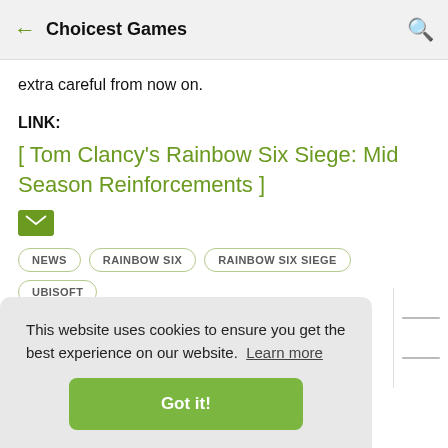← Choicest Games
extra careful from now on.
LINK:
[ Tom Clancy's Rainbow Six Siege: Mid Season Reinforcements ]
NEWS
RAINBOW SIX
RAINBOW SIX SIEGE
UBISOFT
This website uses cookies to ensure you get the best experience on our website. Learn more
Got it!